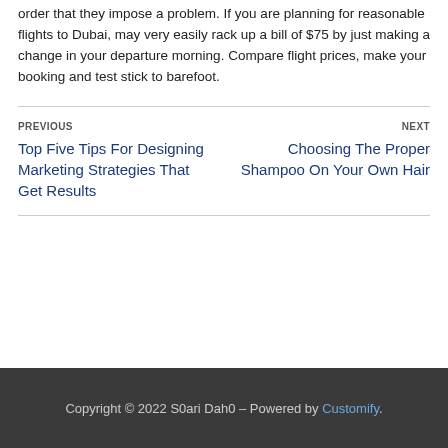order that they impose a problem. If you are planning for reasonable flights to Dubai, may very easily rack up a bill of $75 by just making a change in your departure morning. Compare flight prices, make your booking and test stick to barefoot.
PREVIOUS
Top Five Tips For Designing Marketing Strategies That Get Results
NEXT
Choosing The Proper Shampoo On Your Own Hair
Copyright © 2022 S0ari Dah0 – Powered by Customify.